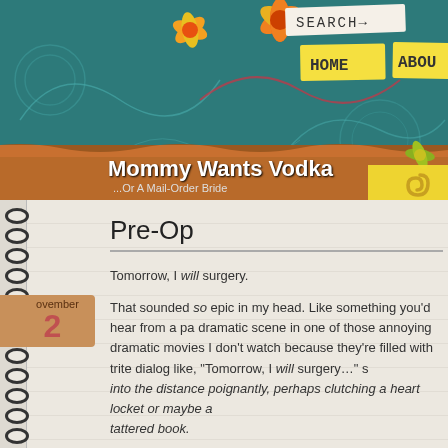[Figure (screenshot): Blog header banner with teal floral decorative background, orange/yellow flowers, cardboard strip, navigation tabs (SEARCH, HOME, ABOUT), sticky note with paperclip, blog title 'Mommy Wants Vodka' and subtitle '...Or A Mail-Order Bride']
Pre-Op
Tomorrow, I will surgery.
That sounded so epic in my head. Like something you'd hear from a pa dramatic scene in one of those annoying dramatic movies I don't watch because they're filled with trite dialog like, "Tomorrow, I will surgery..." s into the distance poignantly, perhaps clutching a heart locket or maybe a tattered book.